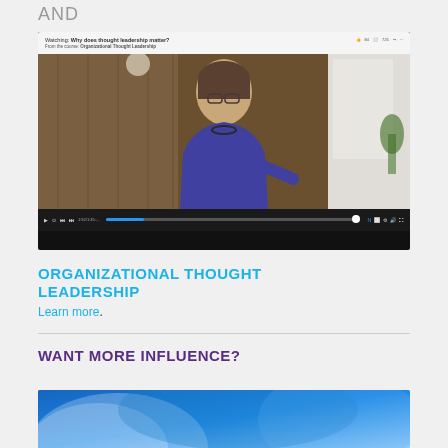AND
[Figure (screenshot): Video player screenshot showing a woman in a blue jacket speaking, from the course 'Organizational Thought Leadership'. Title: 'Watching: Why does thought leadership matter?']
ORGANIZATIONAL THOUGHT LEADERSHIP
Learn more.
WANT MORE INFLUENCE?
[Figure (photo): Partial image with blue gradient background, bottom of page cut off]